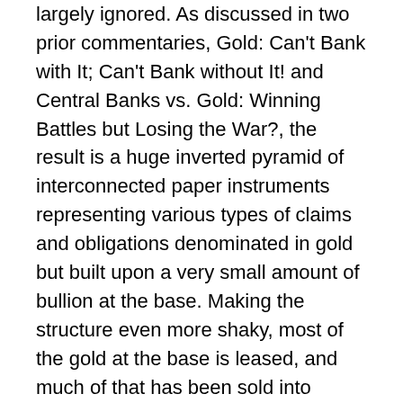largely ignored. As discussed in two prior commentaries, Gold: Can't Bank with It; Can't Bank without It! and Central Banks vs. Gold: Winning Battles but Losing the War?, the result is a huge inverted pyramid of interconnected paper instruments representing various types of claims and obligations denominated in gold but built upon a very small amount of bullion at the base. Making the structure even more shaky, most of the gold at the base is leased, and much of that has been sold into Indian and other Asian and Middle Eastern markets.
No commodity except gold is held by central banks as an international monetary asset. No other commodity (with the possible exception of silver) can assert the claim that it competes on